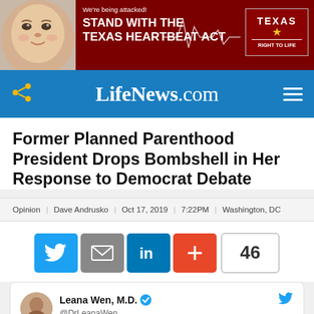[Figure (illustration): Advertisement banner for Texas Right to Life featuring a baby photo and text 'We’re being attacked! STAND WITH THE TEXAS HEARTBEAT ACT' with a heartbeat line graphic and Texas Right to Life logo on dark red background]
LifeNews.com
Former Planned Parenthood President Drops Bombshell in Her Response to Democrat Debate
Opinion | Dave Andrusko | Oct 17, 2019 | 7:22PM | Washington, DC
[Figure (infographic): Social share buttons: Twitter (blue), Email (grey), LinkedIn (blue), Plus/Share (orange-red), and share count showing 46]
[Figure (screenshot): Embedded tweet from Leana Wen, M.D. (@DrLeanaWen) with verified checkmark and Twitter bird icon]